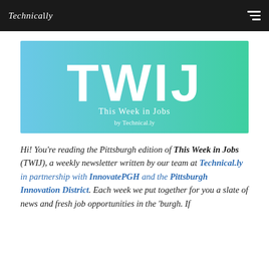Technically
[Figure (illustration): TWIJ banner image with blue-to-green gradient background, large white text 'TWIJ', subtitle 'This Week in Jobs by Technical.ly']
Hi! You're reading the Pittsburgh edition of This Week in Jobs (TWIJ), a weekly newsletter written by our team at Technical.ly in partnership with InnovatePGH and the Pittsburgh Innovation District. Each week we put together for you a slate of news and fresh job opportunities in the 'burgh. If